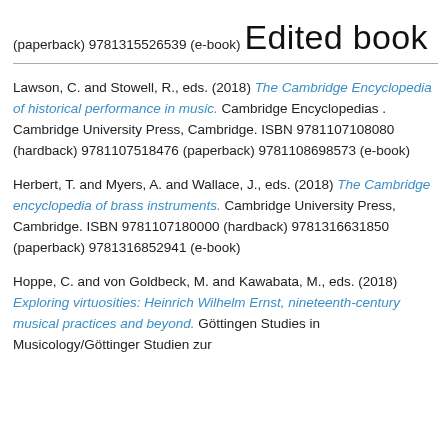(paperback) 9781315526539 (e-book)
Edited book
Lawson, C. and Stowell, R., eds. (2018) The Cambridge Encyclopedia of historical performance in music. Cambridge Encyclopedias . Cambridge University Press, Cambridge. ISBN 9781107108080 (hardback) 9781107518476 (paperback) 9781108698573 (e-book)
Herbert, T. and Myers, A. and Wallace, J., eds. (2018) The Cambridge encyclopedia of brass instruments. Cambridge University Press, Cambridge. ISBN 9781107180000 (hardback) 9781316631850 (paperback) 9781316852941 (e-book)
Hoppe, C. and von Goldbeck, M. and Kawabata, M., eds. (2018) Exploring virtuosities: Heinrich Wilhelm Ernst, nineteenth-century musical practices and beyond. Göttingen Studies in Musicology/Göttinger Studien zur